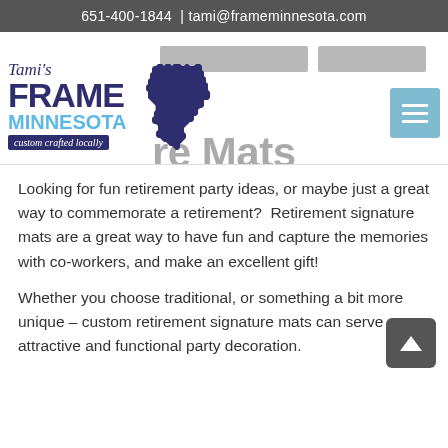651-400-1844  | tami@frameminnesota.com
[Figure (logo): Tami's Frame Minnesota logo with custom crafted locally tagline and Minnesota state silhouette, overlapping with navigation header and large gray text reading 'Retirement Signature Mats']
Looking for fun retirement party ideas, or maybe just a great way to commemorate a retirement?  Retirement signature mats are a great way to have fun and capture the memories with co-workers, and make an excellent gift!
Whether you choose traditional, or something a bit more unique – custom retirement signature mats can serve as an attractive and functional party decoration.